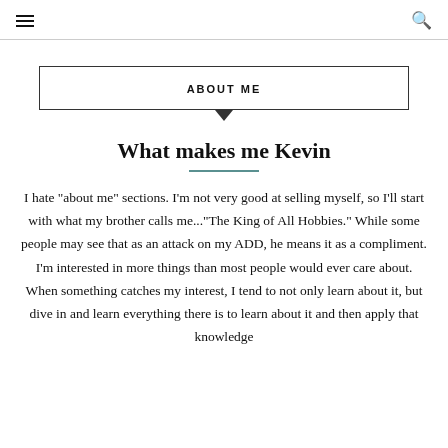☰ [menu icon] [search icon]
ABOUT ME
What makes me Kevin
I hate "about me" sections. I'm not very good at selling myself, so I'll start with what my brother calls me..."The King of All Hobbies." While some people may see that as an attack on my ADD, he means it as a compliment. I'm interested in more things than most people would ever care about. When something catches my interest, I tend to not only learn about it, but dive in and learn everything there is to learn about it and then apply that knowledge